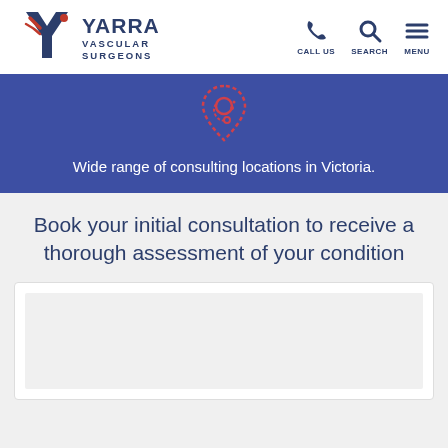[Figure (logo): Yarra Vascular Surgeons logo with stylized Y mark in red/blue and text YARRA VASCULAR SURGEONS]
CALL US   SEARCH   MENU
[Figure (illustration): Red/pink location pin icon with stethoscope, on dark blue background]
Wide range of consulting locations in Victoria.
Book your initial consultation to receive a thorough assessment of your condition
[Figure (screenshot): White form box area, partially visible, with light grey inner content area]